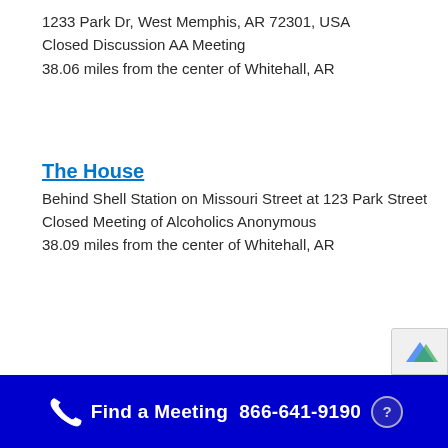1233 Park Dr, West Memphis, AR 72301, USA
Closed Discussion AA Meeting
38.06 miles from the center of Whitehall, AR
The House
Behind Shell Station on Missouri Street at 123 Park Street
Closed Meeting of Alcoholics Anonymous
38.09 miles from the center of Whitehall, AR
Find a Meeting  866-641-9190